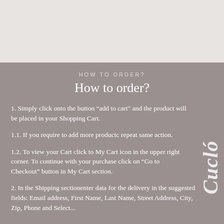HOW TO ORDER?
How to order?
1. Simply click onto the button “add to cart" and the product will be placed in your Shopping Cart.
1.1. If you require to add more productc repeat same action.
1.2. To view your Cart click to My Cart icon in the upper right corner. To continue with your purchase click on “Go to Checkout” button in My Cart section.
2. In the Shipping sectionenter data for the delivery in the suggested fields: Email address, First Name, Last Name, Street Address, City, Zip, Phone and Select...